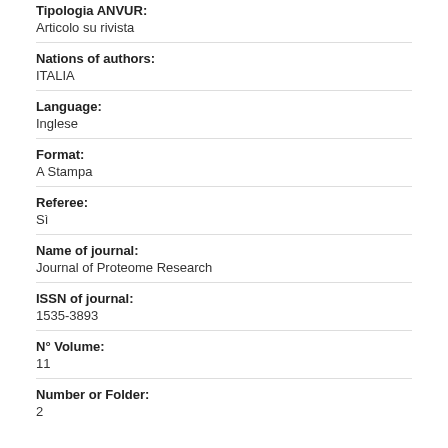Tipologia ANVUR:
Articolo su rivista
Nations of authors:
ITALIA
Language:
Inglese
Format:
A Stampa
Referee:
Sì
Name of journal:
Journal of Proteome Research
ISSN of journal:
1535-3893
N° Volume:
11
Number or Folder:
2